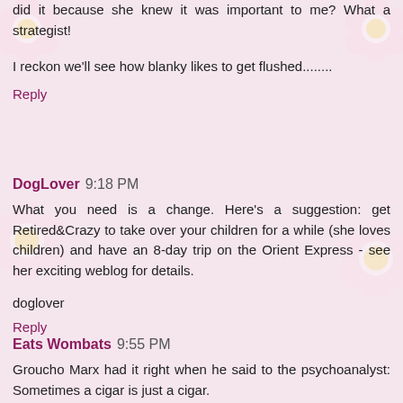did it because she knew it was important to me? What a strategist!
I reckon we'll see how blanky likes to get flushed........
Reply
DogLover 9:18 PM
What you need is a change. Here's a suggestion: get Retired&Crazy to take over your children for a while (she loves children) and have an 8-day trip on the Orient Express - see her exciting weblog for details.
doglover
Reply
Eats Wombats 9:55 PM
Groucho Marx had it right when he said to the psychoanalyst: Sometimes a cigar is just a cigar.